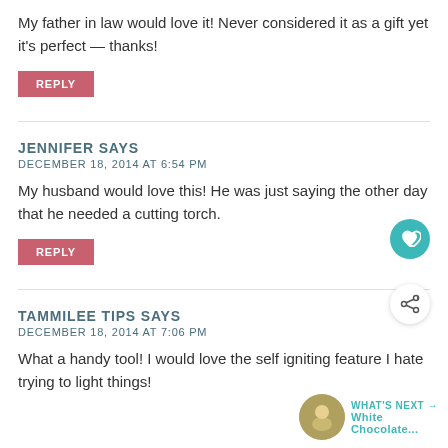My father in law would love it! Never considered it as a gift yet it's perfect — thanks!
REPLY
JENNIFER SAYS
DECEMBER 18, 2014 AT 6:54 PM
My husband would love this! He was just saying the other day that he needed a cutting torch.
REPLY
TAMMILEE TIPS SAYS
DECEMBER 18, 2014 AT 7:06 PM
What a handy tool! I would love the self igniting feature I hate trying to light things!